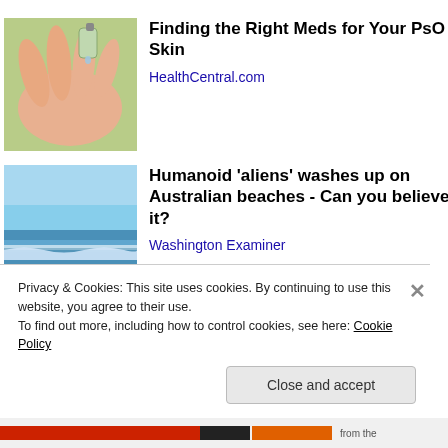[Figure (photo): Close-up photo of a hand receiving drops of liquid from a small bottle, with green blurred background]
Finding the Right Meds for Your PsO Skin
HealthCentral.com
[Figure (photo): Photo of ocean waves washing onto a sandy beach under a clear blue sky]
Humanoid 'aliens' washes up on Australian beaches - Can you believe it?
Washington Examiner
Privacy & Cookies: This site uses cookies. By continuing to use this website, you agree to their use.
To find out more, including how to control cookies, see here: Cookie Policy